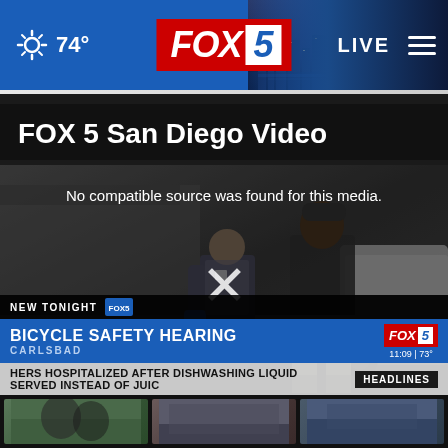74° FOX 5 LIVE
FOX 5 San Diego Video
[Figure (screenshot): Video player showing police officers at a scene, with error message 'No compatible source was found for this media.' and an X icon. Lower third shows 'NEW TONIGHT - BICYCLE SAFETY HEARING - CARLSBAD' with FOX 5 logo and time 11:09 | 73°. Ticker reads 'HERS HOSPITALIZED AFTER DISHWASHING LIQUID SERVED INSTEAD OF JUIC ... HEADLINES']
[Figure (photo): Three thumbnail images at the bottom of the page showing video preview images]